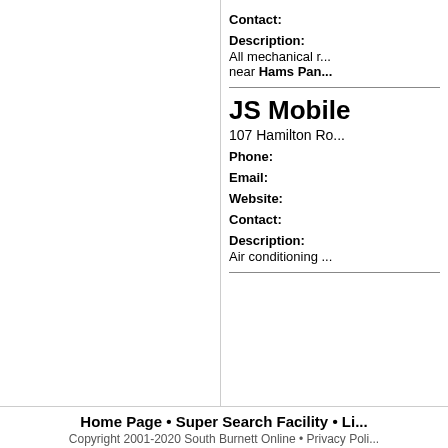Contact:
Description: All mechanical r... near Hams Pan...
JS Mobile
107 Hamilton Ro...
Phone:
Email:
Website:
Contact:
Description: Air conditioning ...
Home Page • Super Search Facility • Li... Copyright 2001-2020 South Burnett Online • Privacy Poli...